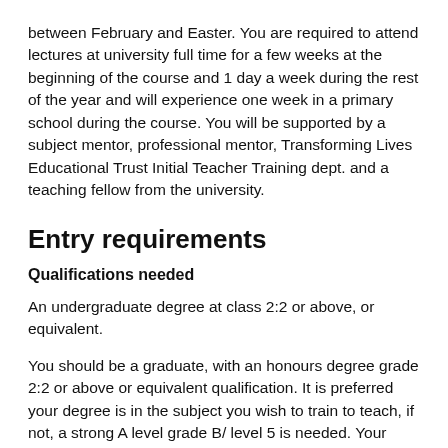between February and Easter. You are required to attend lectures at university full time for a few weeks at the beginning of the course and 1 day a week during the rest of the year and will experience one week in a primary school during the course. You will be supported by a subject mentor, professional mentor, Transforming Lives Educational Trust Initial Teacher Training dept. and a teaching fellow from the university.
Entry requirements
Qualifications needed
An undergraduate degree at class 2:2 or above, or equivalent.
You should be a graduate, with an honours degree grade 2:2 or above or equivalent qualification. It is preferred your degree is in the subject you wish to train to teach, if not, a strong A level grade B/ level 5 is needed. Your qualifications must be completed before the commencement of your training place. NARIC equivalency certificates are required